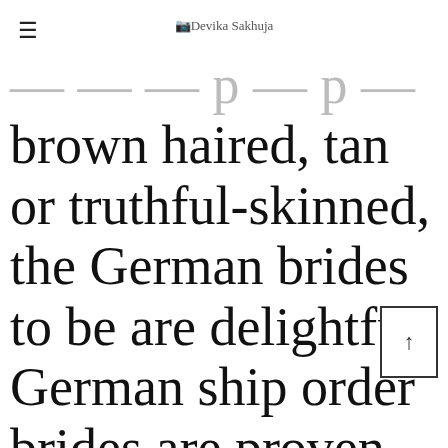Devika Sakhuja
brown haired, tan or truthful-skinned, the German brides to be are delightful. German ship order brides are proven to be a range of the